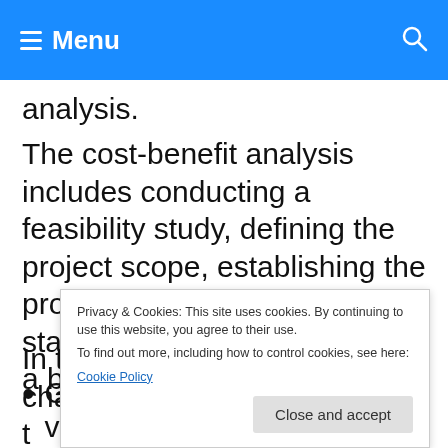Menu
analysis.
The cost-benefit analysis includes conducting a feasibility study, defining the project scope, establishing the project deliverables, and the stakeholders involved to build a business case.
In this phase, the project charter becomes t
Privacy & Cookies: This site uses cookies. By continuing to use this website, you agree to their use. To find out more, including how to control cookies, see here: Cookie Policy
Goals of the project and the value it